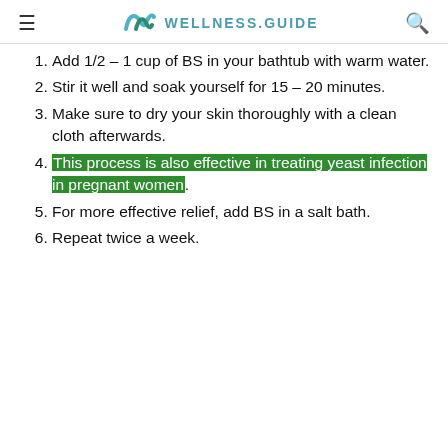WELLNESS.GUIDE
Add 1/2 – 1 cup of BS in your bathtub with warm water.
Stir it well and soak yourself for 15 – 20 minutes.
Make sure to dry your skin thoroughly with a clean cloth afterwards.
This process is also effective in treating yeast infection in pregnant women.
For more effective relief, add BS in a salt bath.
Repeat twice a week.